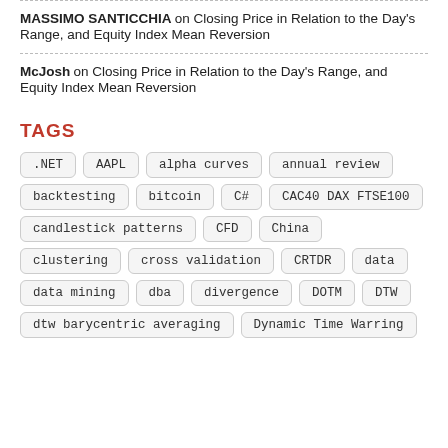MASSIMO SANTICCHIA on Closing Price in Relation to the Day's Range, and Equity Index Mean Reversion
McJosh on Closing Price in Relation to the Day's Range, and Equity Index Mean Reversion
TAGS
.NET
AAPL
alpha curves
annual review
backtesting
bitcoin
C#
CAC40 DAX FTSE100
candlestick patterns
CFD
China
clustering
cross validation
CRTDR
data
data mining
dba
divergence
DOTM
DTW
dtw barycentric averaging
Dynamic Time Warping